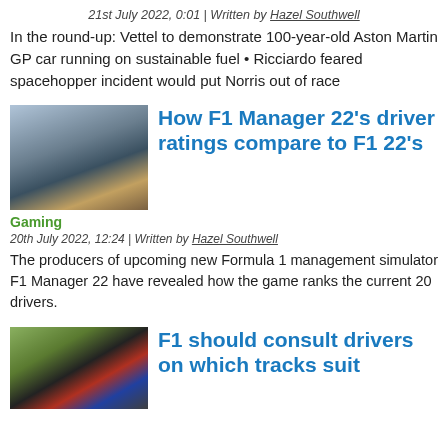21st July 2022, 0:01 | Written by Hazel Southwell
In the round-up: Vettel to demonstrate 100-year-old Aston Martin GP car running on sustainable fuel • Ricciardo feared spacehopper incident would put Norris out of race
[Figure (photo): Group photo of F1 drivers and personnel standing together in a garage or pit lane area]
How F1 Manager 22's driver ratings compare to F1 22's
Gaming
20th July 2022, 12:24 | Written by Hazel Southwell
The producers of upcoming new Formula 1 management simulator F1 Manager 22 have revealed how the game ranks the current 20 drivers.
[Figure (photo): Racing cars on track, appears to show an F1 race incident or close racing]
F1 should consult drivers on which tracks suit